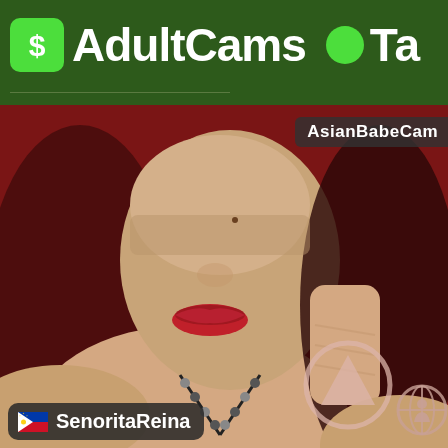AdultCams  Ta
[Figure (screenshot): Webcam screenshot showing a woman with red lipstick, dark hair, hand near chin, wearing a necklace, in front of a red background. Overlay text 'AsianBabeCam' visible in top right. Username 'SenoritaReina' with Philippine flag shown at bottom left. Arrow up icon and globe icon at bottom right.]
AsianBabeCam
SenoritaReina